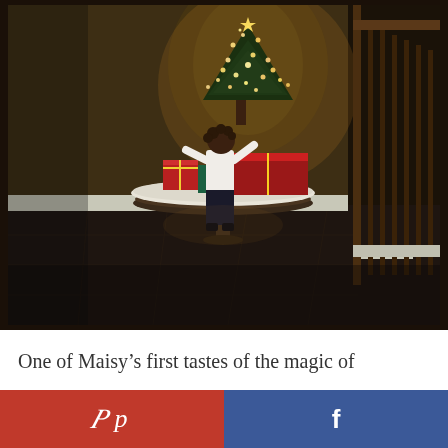[Figure (photo): A young child with curly hair, dressed in white top and dark pants, standing in a dimly lit hallway reaching up to a Christmas tree on a round table. The tree is lit with warm white lights and surrounded by wrapped presents. Dark wood flooring and stair railing visible on the right.]
One of Maisy's first tastes of the magic of